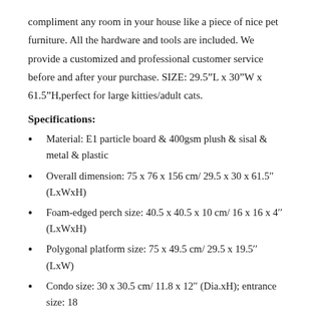compliment any room in your house like a piece of nice pet furniture. All the hardware and tools are included. We provide a customized and professional customer service before and after your purchase. SIZE: 29.5"L x 30"W x 61.5"H,perfect for large kitties/adult cats.
Specifications:
Material: E1 particle board & 400gsm plush & sisal & metal & plastic
Overall dimension: 75 x 76 x 156 cm/ 29.5 x 30 x 61.5'' (LxWxH)
Foam-edged perch size: 40.5 x 40.5 x 10 cm/ 16 x 16 x 4'' (LxWxH)
Polygonal platform size: 75 x 49.5 cm/ 29.5 x 19.5'' (LxW)
Condo size: 30 x 30.5 cm/ 11.8 x 12'' (Dia.xH); entrance size: 18